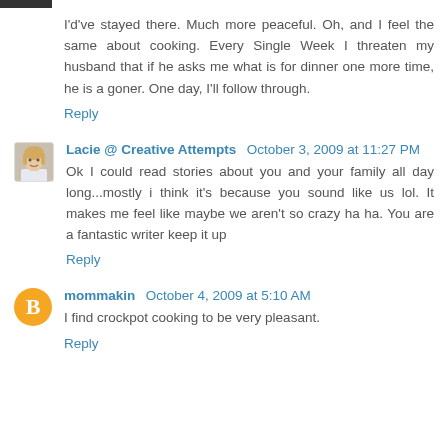I'd've stayed there. Much more peaceful. Oh, and I feel the same about cooking. Every Single Week I threaten my husband that if he asks me what is for dinner one more time, he is a goner. One day, I'll follow through.
Reply
Lacie @ Creative Attempts  October 3, 2009 at 11:27 PM
Ok I could read stories about you and your family all day long...mostly i think it's because you sound like us lol. It makes me feel like maybe we aren't so crazy ha ha. You are a fantastic writer keep it up
Reply
mommakin  October 4, 2009 at 5:10 AM
I find crockpot cooking to be very pleasant.
Reply